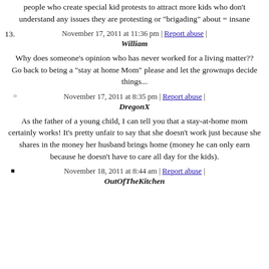people who create special kid protests to attract more kids who don't understand any issues they are protesting or "brigading" about = insane
November 17, 2011 at 11:36 pm | Report abuse |
William
Why does someone's opinion who has never worked for a living matter?? Go back to being a "stay at home Mom" please and let the grownups decide things...
November 17, 2011 at 8:35 pm | Report abuse |
DregonX
As the father of a young child, I can tell you that a stay-at-home mom certainly works! It's pretty unfair to say that she doesn't work just because she shares in the money her husband brings home (money he can only earn because he doesn't have to care all day for the kids).
November 18, 2011 at 8:44 am | Report abuse |
OutOfTheKitchen